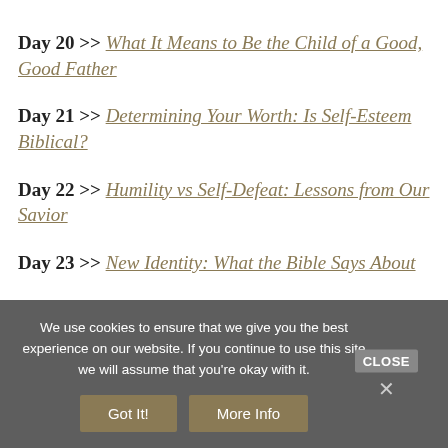Day 20 >> What It Means to Be the Child of a Good, Good Father
Day 21 >> Determining Your Worth: Is Self-Esteem Biblical?
Day 22 >> Humility vs Self-Defeat: Lessons from Our Savior
Day 23 >> New Identity: What the Bible Says About
We use cookies to ensure that we give you the best experience on our website. If you continue to use this site we will assume that you're okay with it.